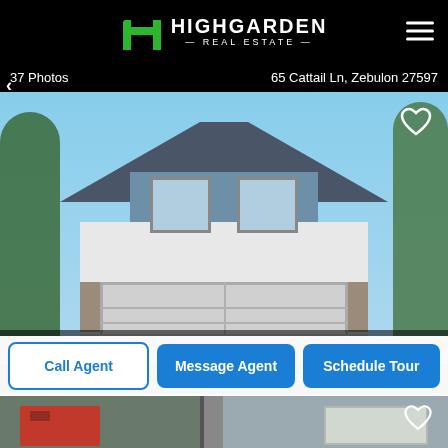[Figure (logo): Highgarden Real Estate logo — green H letter mark with HIGHGARDEN REAL ESTATE text in white]
37 Photos
65 Cattail Ln, Zebulon 27597
[Figure (photo): Two-story craftsman style home for sale with gray and white exterior, stone facade, two-car garage, blue shutters, green trees in background]
Home For Sale   $375,900   3BR | 2BA
18 Photos
536 Gusty Ln, Zebulon 27597
[Figure (photo): Partial view of a home exterior with trees and sky]
Call Agent
Message Agent
Schedule Tour
[Figure (photo): Bottom strip showing partial view of another home listing with red dumpster visible]